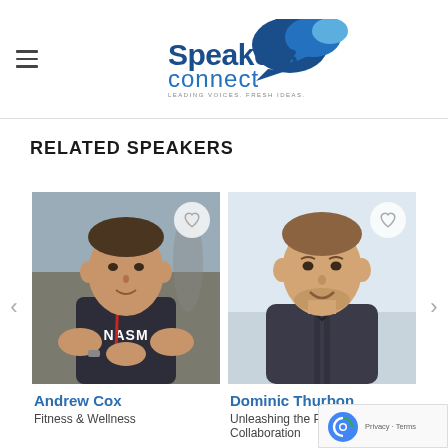Speakers Connect - Leading Voices, Fresh Ideas
RELATED SPEAKERS
[Figure (photo): Photo of Andrew Cox, fitness speaker wearing a black NASM t-shirt with a red lanyard, outdoors]
Andrew Cox
Fitness & Wellness
[Figure (photo): Photo of Dominic Thurbon, smiling man in a dark button-up shirt in a bright indoor setting]
Dominic Thurbon
Unleashing the Power of Collaboration